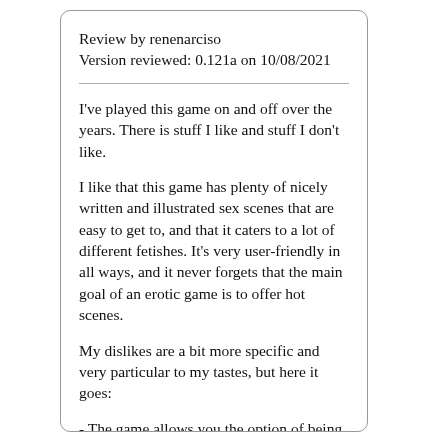Review by renenarciso
Version reviewed: 0.121a on 10/08/2021
I've played this game on and off over the years. There is stuff I like and stuff I don't like.
I like that this game has plenty of nicely written and illustrated sex scenes that are easy to get to, and that it caters to a lot of different fetishes. It's very user-friendly in all ways, and it never forgets that the main goal of an erotic game is to offer hot scenes.
My dislikes are a bit more specific and very particular to my tastes, but here it goes:
- The game allows you the option of being mean to the